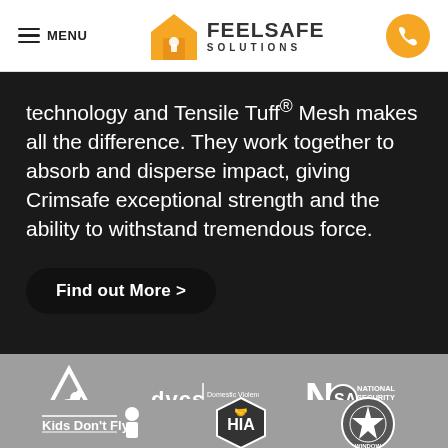MENU | FEELSAFE SOLUTIONS
technology and Tensile Tuff® Mesh makes all the difference. They work together to absorb and disperse impact, giving Crimsafe exceptional strength and the ability to withstand tremendous force.
Find out More >
[Figure (logo): Australian Made logo — kangaroo inside triangle]
[Figure (logo): dvcs | Domestic Violence Crisis Service logo]
[Figure (logo): NSA National Security Screen Association logo]
[Figure (logo): Kids Don't Fly logo]
[Figure (logo): HIA logo]
[Figure (logo): Window (partially visible) logo]